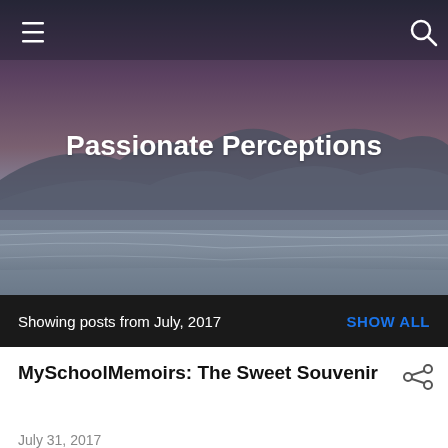[Figure (photo): Blog header banner with a scenic landscape showing mountains or hills at dusk/sunset with purple-grey sky and blue water reflections. Site title 'Passionate Perceptions' overlaid in white bold text.]
Passionate Perceptions
Showing posts from July, 2017   SHOW ALL
MySchoolMemoirs: The Sweet Souvenir
July 31, 2017
Prologue This narration is about the events that unfolded during our primary and high school buddies' re-union after almost three decades. It is a harmonious journey, a journey that we would savor all along our lifetime. I have chosen appropriate musical terms as subheadings. A short ...